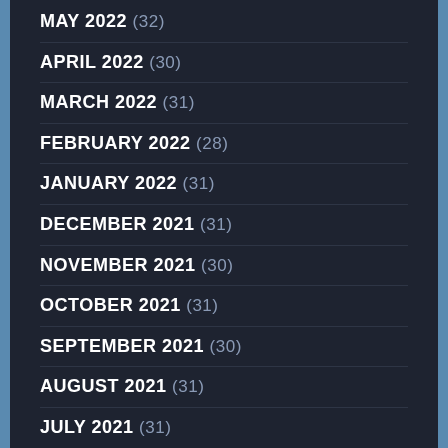MAY 2022 (32)
APRIL 2022 (30)
MARCH 2022 (31)
FEBRUARY 2022 (28)
JANUARY 2022 (31)
DECEMBER 2021 (31)
NOVEMBER 2021 (30)
OCTOBER 2021 (31)
SEPTEMBER 2021 (30)
AUGUST 2021 (31)
JULY 2021 (31)
JUNE 2021 (30)
MAY 2021 (31)
APRIL 2021 (30)
MARCH 2021 (30)